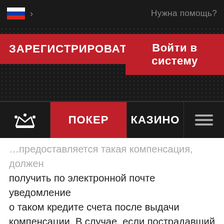[Figure (screenshot): Top navigation bar with Russian flag icon and 'Нужна помощь?' help text on dark background]
[Figure (screenshot): Red registration button 'ЗАРЕГИСТРИРОВАТ' and red login button 'Войти в систему' on dark dotted background]
[Figure (screenshot): Navigation bar with crown icon, red ПОКЕР tab, КАЗИНО tab, and hamburger menu on dark background]
предоставляется такая компенсация, должен получить по электронной почте уведомление о таком кредите счета после выдачи компенсации. В случае, если пострадавший игрок получит кредит на основании политики WPN по выплате компенсации, указанный игрок обязан принять указанный платеж в качестве полной компенсации за любое поврежднение, потерю и т.д., если только в